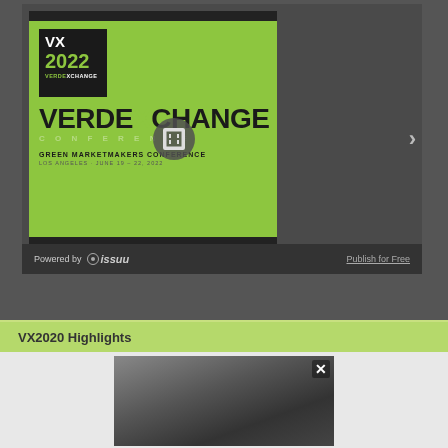[Figure (screenshot): Issuu document viewer showing VX2022 VerdeXchange Conference cover. Green background with VX 2022 logo in black box, 'VERDEXCHANGE' branding, 'GREEN MARKETMAKERS CONFERENCE', 'LOS ANGELES - JUNE 19-22, 2022', '15TH ANNIVERSARY 2007-2022'. Powered by Issuu footer with 'Publish for Free' link and navigation arrow.]
VX2020 Highlights
[Figure (screenshot): Video thumbnail showing a dark blurry image, likely a conference video. Has an X close button in the top right corner.]